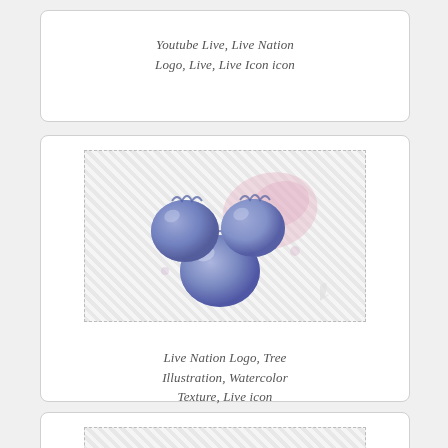Youtube Live, Live Nation Logo, Live, Live Icon icon
[Figure (illustration): Watercolor painting of three blueberries with pink splash watercolor texture in the background]
Live Nation Logo, Tree Illustration, Watercolor Texture, Live icon
[Figure (other): Placeholder image with checkered pattern and PRICE label in green]